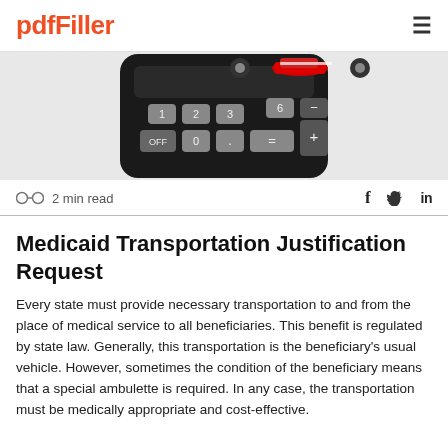pdfFiller
[Figure (photo): A calculator with toy car wheels and a small red car on top, photographed from above showing the keypad.]
2 min read
Medicaid Transportation Justification Request
Every state must provide necessary transportation to and from the place of medical service to all beneficiaries. This benefit is regulated by state law. Generally, this transportation is the beneficiary's usual vehicle. However, sometimes the condition of the beneficiary means that a special ambulette is required. In any case, the transportation must be medically appropriate and cost-effective.